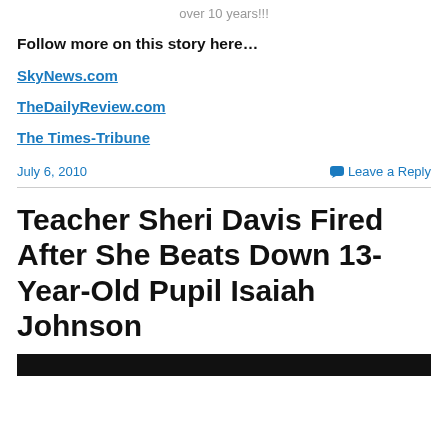over 10 years!!!
Follow more on this story here…
SkyNews.com
TheDailyReview.com
The Times-Tribune
July 6, 2010
Leave a Reply
Teacher Sheri Davis Fired After She Beats Down 13-Year-Old Pupil Isaiah Johnson